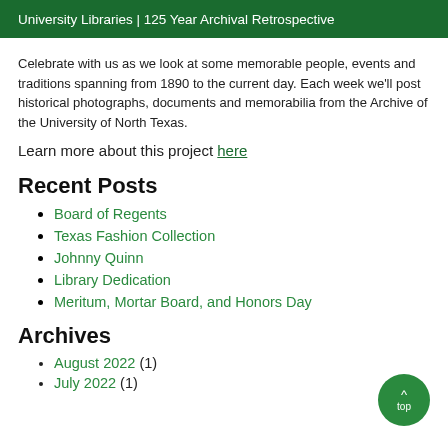University Libraries | 125 Year Archival Retrospective
Celebrate with us as we look at some memorable people, events and traditions spanning from 1890 to the current day. Each week we'll post historical photographs, documents and memorabilia from the Archive of the University of North Texas.
Learn more about this project here
Recent Posts
Board of Regents
Texas Fashion Collection
Johnny Quinn
Library Dedication
Meritum, Mortar Board, and Honors Day
Archives
August 2022 (1)
July 2022 (1)